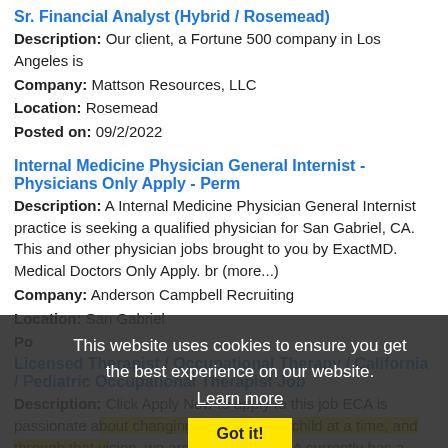Sr. Financial Analyst (Hybrid / Rosemead)
Description: Our client, a Fortune 500 company in Los Angeles is
Company: Mattson Resources, LLC
Location: Rosemead
Posted on: 09/2/2022
Internal Medicine Physician General Internist - Physicians Only Apply - Perm
Description: A Internal Medicine Physician General Internist practice is seeking a qualified physician for San Gabriel, CA. This and other physician jobs brought to you by ExactMD. Medical Doctors Only Apply. br (more...)
Company: Anderson Campbell Recruiting
Location: San Gabriel
Po...
Licensed Therapist / Occupational Therapy / California / Pediatric Occupational Therapist Job
Description: Click Apply Now to apply to this job ECA is passionate about changing the world one child at a time, and through that vision, we are expanding. ECA currently has a rewarding employment opportunity (more...)
Company: Therapist Job Board
Location: Rosemead
This website uses cookies to ensure you get the best experience on our website. Learn more Got it!